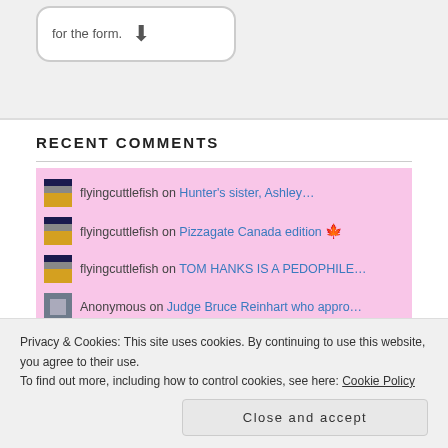[Figure (screenshot): Partial form box with text 'for the form.' and a downward arrow icon]
RECENT COMMENTS
flyingcuttlefish on Hunter's sister, Ashley…
flyingcuttlefish on Pizzagate Canada edition 🍁
flyingcuttlefish on TOM HANKS IS A PEDOPHILE…
Anonymous on Judge Bruce Reinhart who appro…
flyingcuttlefish on Judge Bruce Reinhart who appro…
flyingcuttlefish on BREAKING: Epstein Suicided
Anonymous on Biltmore Unveiled: Vanderbilts…
Privacy & Cookies: This site uses cookies. By continuing to use this website, you agree to their use.
To find out more, including how to control cookies, see here: Cookie Policy
Close and accept